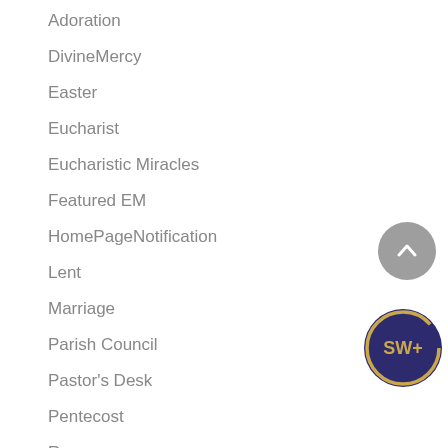Adoration
DivineMercy
Easter
Eucharist
Eucharistic Miracles
Featured EM
HomePageNotification
Lent
Marriage
Parish Council
Pastor's Desk
Pentecost
Resources
StJoseph
Uncategorized
[Figure (illustration): Gray circular scroll-to-top button with upward chevron arrow]
[Figure (logo): SW+ badge: dark blue/purple circle with gold ring and SW+ text in gold]